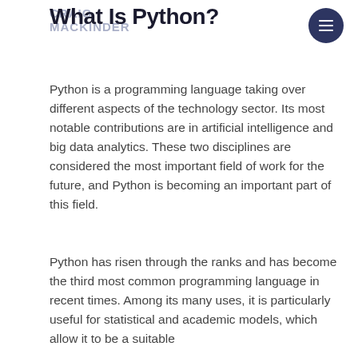CRAIG MACKINDER
What Is Python?
Python is a programming language taking over different aspects of the technology sector. Its most notable contributions are in artificial intelligence and big data analytics. These two disciplines are considered the most important field of work for the future, and Python is becoming an important part of this field.
Python has risen through the ranks and has become the third most common programming language in recent times. Among its many uses, it is particularly useful for statistical and academic models, which allow it to be a suitable